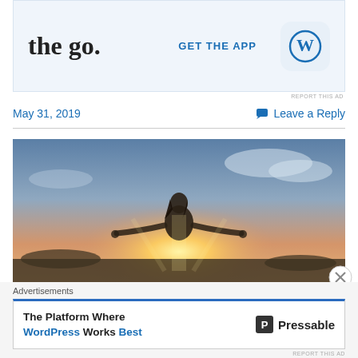[Figure (screenshot): WordPress app advertisement with 'the go.' text and GET THE APP link with WordPress icon]
REPORT THIS AD
May 31, 2019
💬 Leave a Reply
[Figure (photo): Person standing with arms outstretched against a sunset sky]
Advertisements
[Figure (screenshot): Pressable advertisement: The Platform Where WordPress Works Best]
REPORT THIS AD